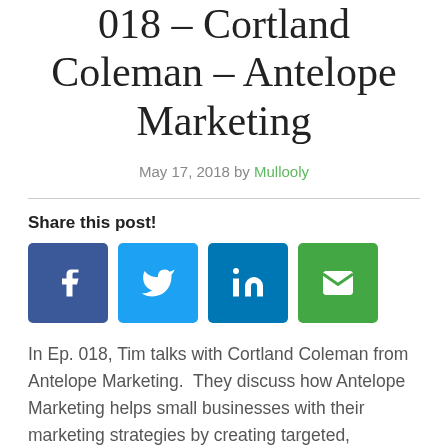018 – Cortland Coleman – Antelope Marketing
May 17, 2018 by Mullooly
[Figure (infographic): Social share buttons: Facebook (blue), Twitter (light blue), LinkedIn (dark blue), Email (green)]
In Ep. 018, Tim talks with Cortland Coleman from Antelope Marketing.  They discuss how Antelope Marketing helps small businesses with their marketing strategies by creating targeted, emotionally connective content on all platforms.